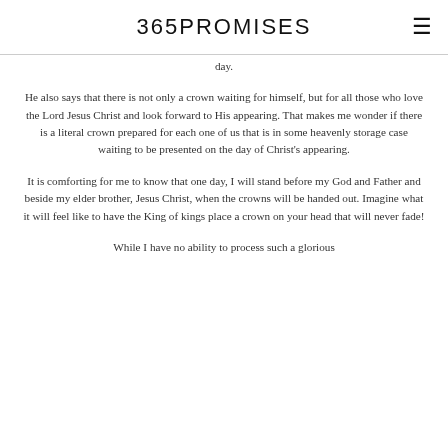365PROMISES
day.
He also says that there is not only a crown waiting for himself, but for all those who love the Lord Jesus Christ and look forward to His appearing. That makes me wonder if there is a literal crown prepared for each one of us that is in some heavenly storage case waiting to be presented on the day of Christ's appearing.
It is comforting for me to know that one day, I will stand before my God and Father and beside my elder brother, Jesus Christ, when the crowns will be handed out. Imagine what it will feel like to have the King of kings place a crown on your head that will never fade!
While I have no ability to process such a glorious